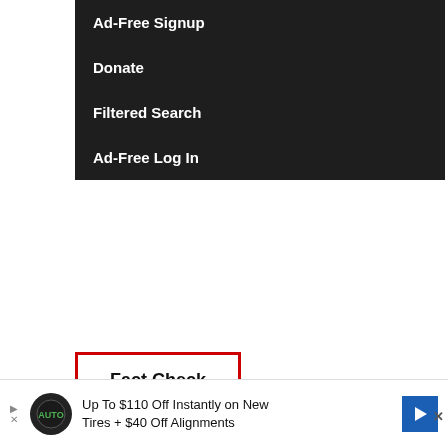Ad-Free Signup
Donate
Filtered Search
Ad-Free Log In
[Figure (logo): Fact Check logo with red border]
[Figure (photo): Notebook paper with handwritten text 'Facts + Truth']
The Latest Fact Checks curated by Media Bias Fact Check 08/29/2022
by Media Bias/Fact Check on August 29, 2022 at 10:30 am
Up To $110 Off Instantly on New Tires + $40 Off Alignments